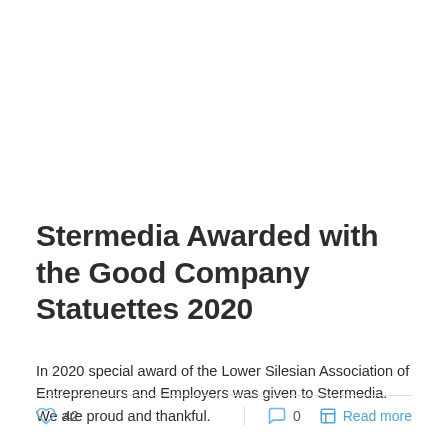Stermedia Awarded with the Good Company Statuettes 2020
In 2020 special award of the Lower Silesian Association of Entrepreneurs and Employers was given to Stermedia. We are proud and thankful.
42  |  0  Read more